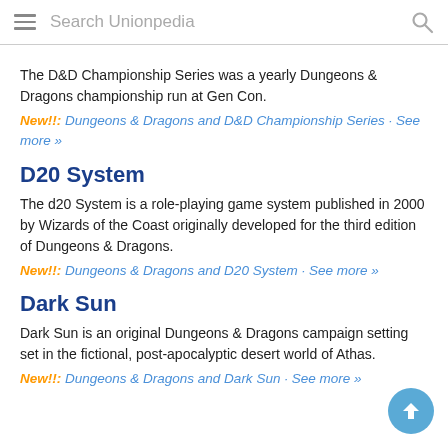Search Unionpedia
The D&D Championship Series was a yearly Dungeons & Dragons championship run at Gen Con.
New!!: Dungeons & Dragons and D&D Championship Series · See more »
D20 System
The d20 System is a role-playing game system published in 2000 by Wizards of the Coast originally developed for the third edition of Dungeons & Dragons.
New!!: Dungeons & Dragons and D20 System · See more »
Dark Sun
Dark Sun is an original Dungeons & Dragons campaign setting set in the fictional, post-apocalyptic desert world of Athas.
New!!: Dungeons & Dragons and Dark Sun · See more »